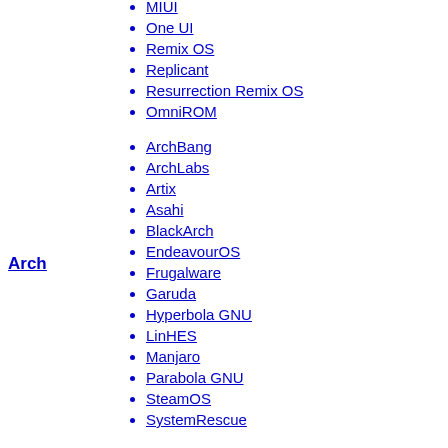MIUI
One UI
Remix OS
Replicant
Resurrection Remix OS
OmniROM
ArchBang
ArchLabs
Artix
Asahi
BlackArch
EndeavourOS
Frugalware
Garuda
Hyperbola GNU
LinHES
Manjaro
Parabola GNU
SteamOS
SystemRescue
Official: Kubuntu
Lubuntu
Ubuntu Budgie
Ubuntu Kylin